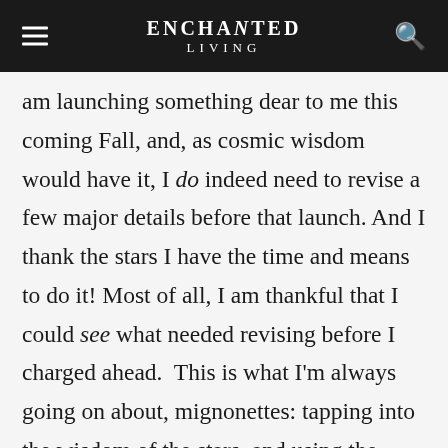ENCHANTED LIVING
am launching something dear to me this coming Fall, and, as cosmic wisdom would have it, I do indeed need to revise a few major details before that launch. And I thank the stars I have the time and means to do it! Most of all, I am thankful that I could see what needed revising before I charged ahead.  This is what I'm always going on about, mignonettes: tapping into the wisdom of the stars, and using the energy available. With the